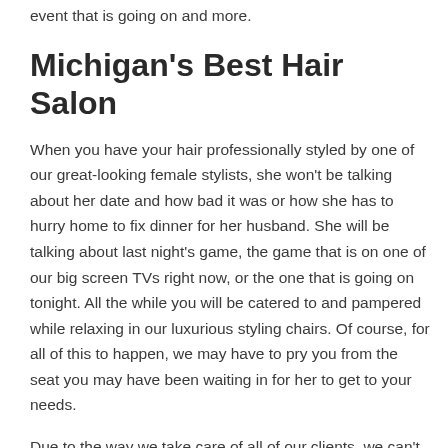event that is going on and more.
Michigan's Best Hair Salon
When you have your hair professionally styled by one of our great-looking female stylists, she won't be talking about her date and how bad it was or how she has to hurry home to fix dinner for her husband. She will be talking about last night's game, the game that is on one of our big screen TVs right now, or the one that is going on tonight. All the while you will be catered to and pampered while relaxing in our luxurious styling chairs. Of course, for all of this to happen, we may have to pry you from the seat you may have been waiting in for her to get to your needs.
Due to the way we take care of all of our clients, we can't rush things just to get to you. But, isn't that the reason you came here – for a little personal attention. A little relaxation? And, isn't that part of what it takes, besides an expert stylist to have you looking your